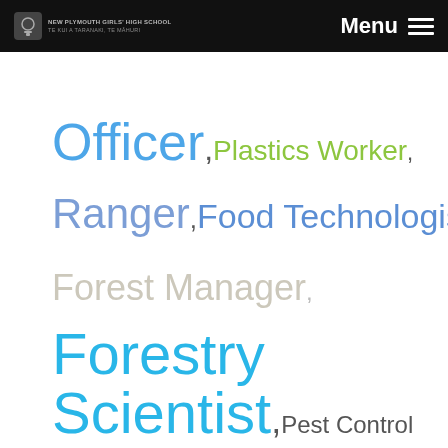Menu
Officer, Plastics Worker, Ranger, Food Technologist, Forest Manager, Forestry Scientist, Pest Control Technician,